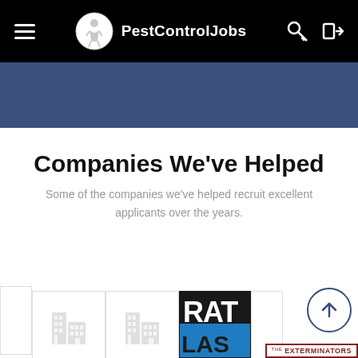PestControlJobs
Companies We've Helped
Some of the companies we've helped recruit excellent applicants over the years.
[Figure (screenshot): Row of company logo cards partially visible at bottom, including a building placeholder icon cards and a 'RAT' logo card, with The Exterminators badge and a scroll-to-top arrow button]